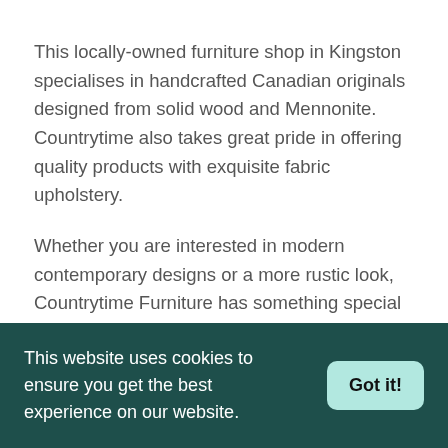This locally-owned furniture shop in Kingston specialises in handcrafted Canadian originals designed from solid wood and Mennonite. Countrytime also takes great pride in offering quality products with exquisite fabric upholstery.
Whether you are interested in modern contemporary designs or a more rustic look, Countrytime Furniture has something special just for you. The shop, established in 1999, boasts of a 30,000 square foot showroom where you can explore and look through their collection of
This website uses cookies to ensure you get the best experience on our website.